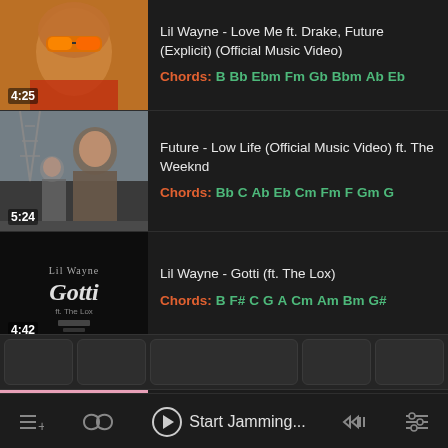Lil Wayne - Love Me ft. Drake, Future (Explicit) (Official Music Video) | Chords: B Bb Ebm Fm Gb Bbm Ab Eb | Duration: 4:25
Future - Low Life (Official Music Video) ft. The Weeknd | Chords: Bb C Ab Eb Cm Fm F Gm G | Duration: 5:24
Lil Wayne - Gotti (ft. The Lox) | Chords: B F# C G A Cm Am Bm G# | Duration: 4:42
Lil Wayne - Like A Man (Official
[Figure (screenshot): Bottom chord buttons row with 5 dark rounded buttons]
Start Jamming...